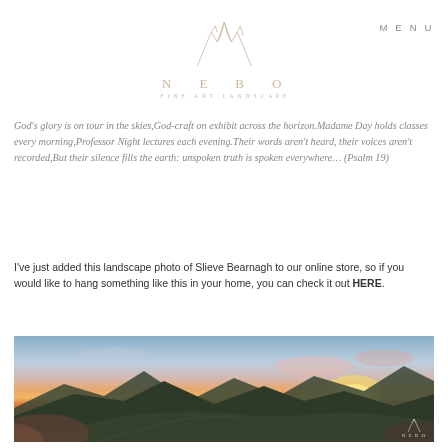[Figure (logo): NEBO mountain landscape logo with triangular mountain line art above text 'NEBO' and subtitle 'FINE ART LANDSCAPE']
MENU
God's glory is on tour in the skies,God-craft on exhibit across the horizon.Madame Day holds classes every morning,Professor Night lectures each evening.Their words aren't heard, their voices aren't recorded,But their silence fills the earth: unspoken truth is spoken everywhere… (Psalm 19)
I've just added this landscape photo of Slieve Bearnagh to our online store, so if you would like to hang something like this in your home, you can check it out HERE.
[Figure (photo): Panoramic landscape photograph of Slieve Bearnagh mountain at sunset, showing dramatic mountain silhouettes, a winding path, and a vivid sunset sky with pink and orange clouds]